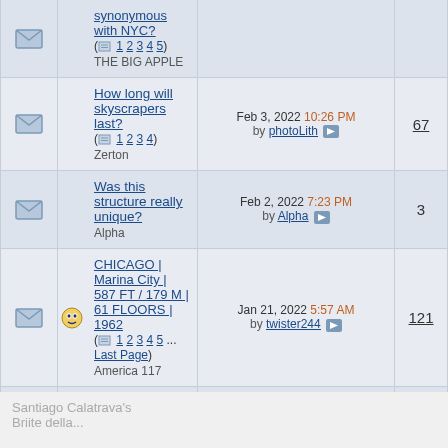|  |  | Thread Title | Last Post | Replies |
| --- | --- | --- | --- | --- |
| [envelope] |  | synonymous with NYC? (1 2 3 4 5)
THE BIG APPLE |  |  |
| [envelope] |  | How long will skyscrapers last? (1 2 3 4)
Zerton | Feb 3, 2022 10:26 PM by photoLith | 67 |
| [envelope] |  | Was this structure really unique?
Alpha | Feb 2, 2022 7:23 PM by Alpha | 3 |
| [envelope] | [cool] | CHICAGO | Marina City | 587 FT / 179 M | 61 FLOORS | 1962 (1 2 3 4 5 ... Last Page)
America 117 | Jan 21, 2022 5:57 AM by twister244 | 121 |
| [envelope] |  | Hallucinatory Architecture of the Future (1 2 3 4 5 ... Last Page)
M II A II R II K | Jan 18, 2022 7:19 PM by mrnyc | 175 |
| [envelope] |  | Brick and Mortar: Tallest Buildings of New York City, 1950
ChiSoxRox | Jan 12, 2022 12:54 AM by MAC123 | 17 |
Santiago Calatrava's Briite della...